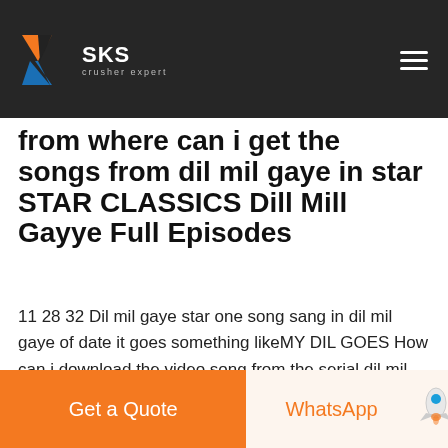[Figure (screenshot): Top navigation bar with SKS crusher expert logo on dark/grey background with hamburger menu icon on the right]
from where can i get the songs from dil mil gaye in star STAR CLASSICS Dill Mill Gayye Full Episodes
11 28 32 Dil mil gaye star one song sang in dil mil gaye of date it goes something likeMY DIL GOES How can i download the video song from the serial dil mil gaye telecasted in star one The link for downloading the dil mil gaye tracks serial of star one Dill Mill Gayye Dill Mill Gayye follows the lives of surgical interns and resident doctors of Sanjeevani Set in the backdrop of Sanjeevani Hospital it deals with the pressures drama romance inter personal relationships and humour in the lives of the young doctors
Get a Quote
WhatsApp